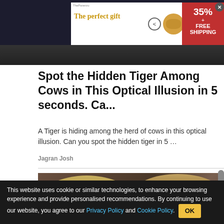[Figure (screenshot): Advertisement banner: 'The perfect gift' with food bowl imagery, navigation arrows, and '35% + FREE SHIPPING' promo in red, with X close button]
Spot the Hidden Tiger Among Cows in This Optical Illusion in 5 seconds. Ca...
A Tiger is hiding among the herd of cows in this optical illusion. Can you spot the hidden tiger in 5 …
Jagran Josh
[Figure (photo): A photo of two people (a woman with blonde hair and a man with light brown hair and blue eyes) posing together in front of a wooden background.]
This website uses cookie or similar technologies, to enhance your browsing experience and provide personalised recommendations. By continuing to use our website, you agree to our Privacy Policy and Cookie Policy.